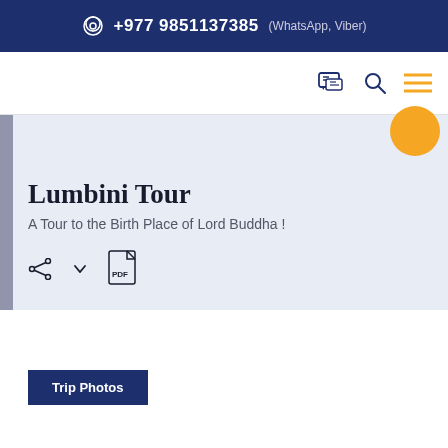+977 9851137385 (WhatsApp, Viber)
Lumbini Tour
A Tour to the Birth Place of Lord Buddha !
Trip Photos